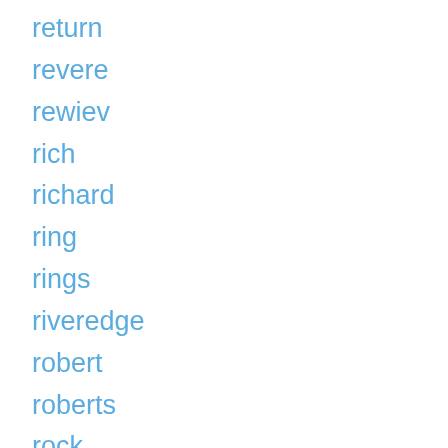return
revere
rewiev
rich
richard
ring
rings
riveredge
robert
roberts
rock
roden
rogers
rooster
root
rose
rosenthal